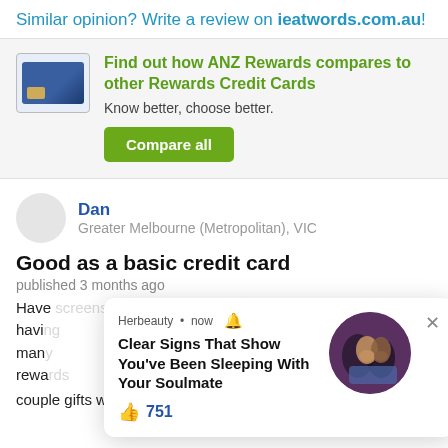Similar opinion? Write a review on ieatwords.com.au!
Find out how ANZ Rewards compares to other Rewards Credit Cards
Know better, choose better.
Compare all
Dan
Greater Melbourne (Metropolitan), VIC
Good as a basic credit card
published 3 months ago
Herbeauty • now
Clear Signs That Show You've Been Sleeping With Your Soulmate
👍 751
Have [screens yet h...] with having man[...] rewards[...ample] couple gifts with ease. The points seem to accumulate ok